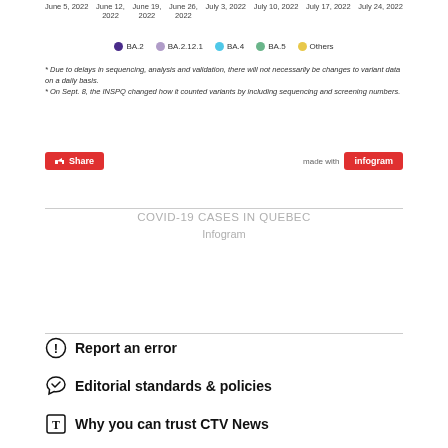[Figure (other): Date axis labels for COVID-19 chart: June 5 2022, June 12 2022, June 19 2022, June 26 2022, July 3 2022, July 10 2022, July 17 2022, July 24 2022]
[Figure (other): Legend showing colored dots for BA.2 (dark purple), BA.2.12.1 (light purple), BA.4 (blue), BA.5 (green), Others (yellow)]
* Due to delays in sequencing, analysis and validation, there will not necessarily be changes to variant data on a daily basis.
* On Sept. 8, the INSPQ changed how it counted variants by including sequencing and screening numbers.
[Figure (other): Share button (red) and 'made with Infogram' badge]
COVID-19 CASES IN QUEBEC
Infogram
Report an error
Editorial standards & policies
Why you can trust CTV News